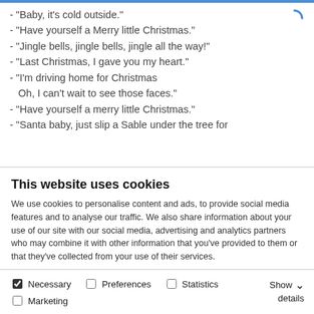- "Baby, it's cold outside."
- "Have yourself a Merry little Christmas."
- "Jingle bells, jingle bells, jingle all the way!"
- "Last Christmas, I gave you my heart."
- "I'm driving home for Christmas
    Oh, I can't wait to see those faces."
- "Have yourself a merry little Christmas."
- "Santa baby, just slip a Sable under the tree for
This website uses cookies
We use cookies to personalise content and ads, to provide social media features and to analyse our traffic. We also share information about your use of our site with our social media, advertising and analytics partners who may combine it with other information that you've provided to them or that they've collected from your use of their services.
Allow all cookies
Allow selection
Use necessary cookies only
Necessary  Preferences  Statistics  Marketing  Show details